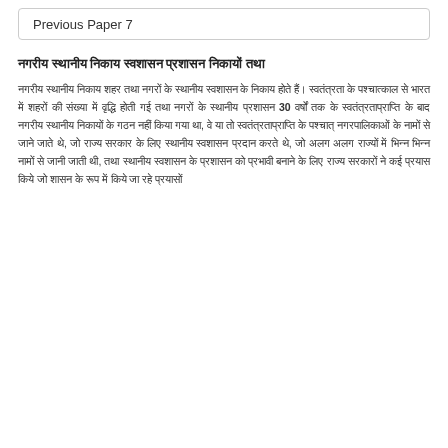Previous Paper 7
नगरीय स्थानीय निकाय स्वशासन प्रशासन निकायों तथा
नगरीय स्थानीय निकाय शहर तथा नगरों के स्थानीय स्वशासन के निकाय होते हैं। स्वतंत्रता के पश्चात्काल से भारत में शहरों की संख्या में वृद्धि होती गई तथा नगरों के स्थानीय प्रशासन 30 वर्षों तक के स्वतंत्रताप्राप्ति के बाद नगरीय स्थानीय निकायों के गठन नहीं किया गया था, वे या तो स्वतंत्रताप्राप्ति के पश्चात् नगरपालिकाओं के नामों से जाने जाते थे, जो राज्य सरकार के लिए स्थानीय स्वशासन प्रदान करते थे, जो अलग अलग राज्यों में भिन्न भिन्न नामों से जानी जाती थी, तथा स्थानीय स्वशासन के प्रशासन को प्रभावी बनाने के लिए राज्य सरकारों ने कई प्रयास किये जो शासन के रूप में किये जा रहे प्रयासों